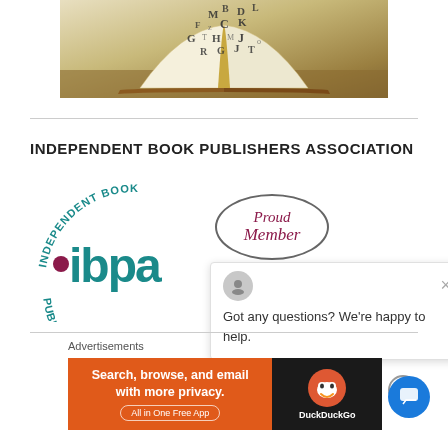[Figure (photo): Open book with letters flying off the pages against a light background]
INDEPENDENT BOOK PUBLISHERS ASSOCIATION
[Figure (logo): IBPA Independent Book Publishers Association logo with Proud Member oval badge]
Got any questions? We're happy to help.
Advertisements
[Figure (screenshot): DuckDuckGo advertisement: Search, browse, and email with more privacy. All in One Free App]